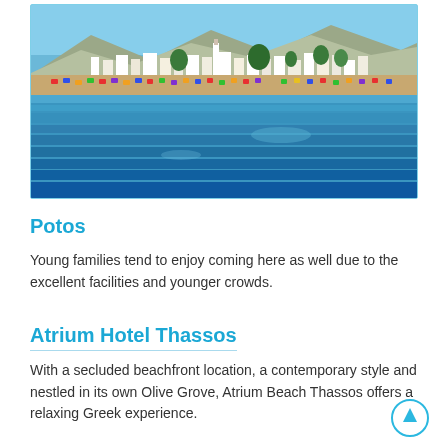[Figure (photo): Aerial/waterfront view of Potos beach town on Thassos island, showing buildings along the coastline, beach area with people and umbrellas, trees, mountains in background, and blue sea in foreground]
Potos
Young families tend to enjoy coming here as well due to the excellent facilities and younger crowds.
Atrium Hotel Thassos
With a secluded beachfront location, a contemporary style and nestled in its own Olive Grove, Atrium Beach Thassos offers a relaxing Greek experience.